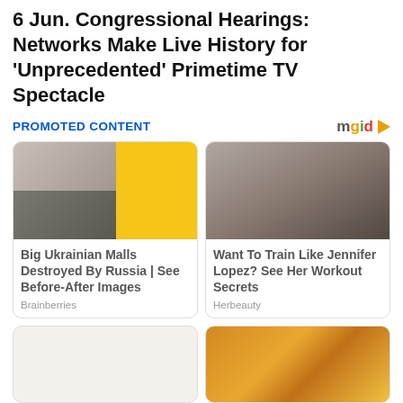6 Jun. Congressional Hearings: Networks Make Live History for 'Unprecedented' Primetime TV Spectacle
PROMOTED CONTENT
[Figure (photo): Composite image showing a shopping mall exterior and a destroyed building, with yellow background]
Big Ukrainian Malls Destroyed By Russia | See Before-After Images
Brainberries
[Figure (photo): Woman taking a gym selfie - Jennifer Lopez style fitness photo]
Want To Train Like Jennifer Lopez? See Her Workout Secrets
Herbeauty
[Figure (photo): Close-up of orange/amber colored substance]
[Figure (photo): Empty white card placeholder]